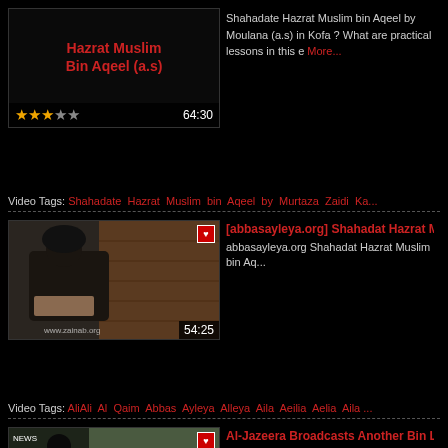[Figure (screenshot): Video thumbnail for Hazrat Muslim Bin Aqeel (a.s) with star rating and duration 64:30]
Shahadate Hazrat Muslim bin Aqeel by Moulana (a.s) in Kofa ? What are practical lessons in this e More...
Video Tags: Shahadate Hazrat Muslim bin Aqeel by Murtaza Zaidi Ka...
[Figure (screenshot): Video thumbnail showing a cleric reading, with www.zainab.org watermark and duration 54:25]
[abbasayleya.org] Shahadat Hazrat Muslim bi...
abbasayleya.org Shahadat Hazrat Muslim bin Aq...
Video Tags: AliAli Al Qaim Abbas Ayleya Alleya Aila Aeilia Aelia Aila ...
[Figure (screenshot): Video thumbnail showing Bin Laden related broadcast]
Al-Jazeera Broadcasts Another Bin Laden Me...
Al-Jazeera, the Qatari based channel has broadcasted Head of the Al-Qaeda Group. The Al-Jazeera Net More...